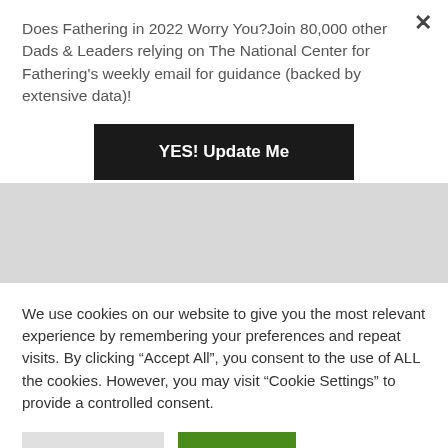Does Fathering in 2022 Worry You?Join 80,000 other Dads & Leaders relying on The National Center for Fathering's weekly email for guidance (backed by extensive data)!
YES! Update Me
We use cookies on our website to give you the most relevant experience by remembering your preferences and repeat visits. By clicking “Accept All”, you consent to the use of ALL the cookies. However, you may visit “Cookie Settings” to provide a controlled consent.
Cookie Settings
Accept All